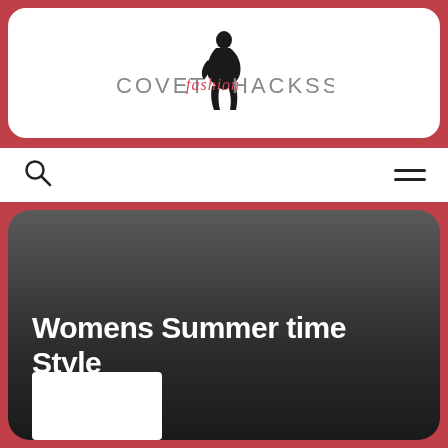COVET FASHION HACKSS
[Figure (logo): CovEt Fashion Hackss logo with silhouette of woman sitting and stylized text]
[Figure (illustration): Search (magnifying glass) icon on left, hamburger menu icon on right — navigation bar]
[Figure (photo): Dark gradient background card image (grey to near-black)]
Womens Summer time Style
[Figure (photo): Small white thumbnail rectangle at bottom left of card]